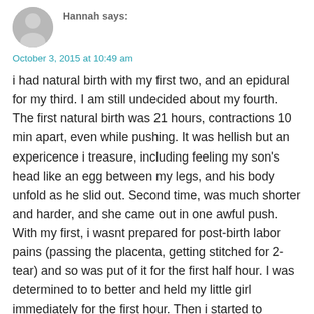[Figure (photo): User avatar: circular grey silhouette/placeholder avatar image]
October 3, 2015 at 10:49 am
i had natural birth with my first two, and an epidural for my third. I am still undecided about my fourth. The first natural birth was 21 hours, contractions 10 min apart, even while pushing. It was hellish but an expericence i treasure, including feeling my son's head like an egg between my legs, and his body unfold as he slid out. Second time, was much shorter and harder, and she came out in one awful push. With my first, i wasnt prepared for post-birth labor pains (passing the placenta, getting stitched for 2-tear) and so was put of it for the first half hour. I was determined to to better and held my little girl immediately for the first hour. Then i started to hemorage as the placenta wasnt detaching. A long story short; i went in for manual removal surgery, my